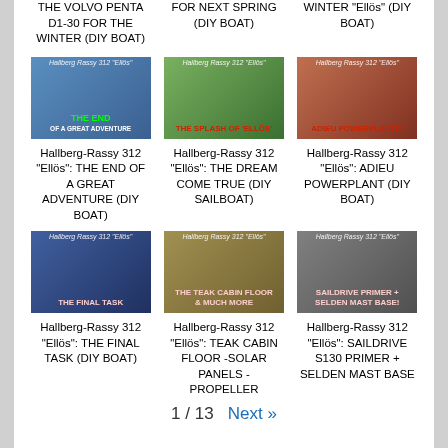THE VOLVO PENTA D1-30 FOR THE WINTER (DIY BOAT)
FOR NEXT SPRING (DIY BOAT)
WINTER "Ellös" (DIY BOAT)
[Figure (photo): Hallberg-Rassy 312 Ellös thumbnail - THE END]
[Figure (photo): Hallberg-Rassy 312 Ellös thumbnail - THE SPLASH OF TELLÖS]
[Figure (photo): Hallberg-Rassy 312 Ellös thumbnail - ADIEU POWERPLANT]
Hallberg-Rassy 312 "Ellös": THE END OF A GREAT ADVENTURE (DIY BOAT)
Hallberg-Rassy 312 "Ellös": THE DREAM COME TRUE (DIY SAILBOAT)
Hallberg-Rassy 312 "Ellös": ADIEU POWERPLANT (DIY BOAT)
[Figure (photo): Hallberg-Rassy 312 Ellös thumbnail - THE FINAL TASK]
[Figure (photo): Hallberg-Rassy 312 Ellös thumbnail - TEAK CABIN FLOOR & MUCH MORE]
[Figure (photo): Hallberg-Rassy 312 Ellös thumbnail - SAILDRIVE PRIMER + SELDEN MAST BASE]
Hallberg-Rassy 312 "Ellös": THE FINAL TASK (DIY BOAT)
Hallberg-Rassy 312 "Ellös": TEAK CABIN FLOOR -SOLAR PANELS - PROPELLER
Hallberg-Rassy 312 "Ellös": SAILDRIVE S130 PRIMER + SELDEN MAST BASE
1 / 13  Next »